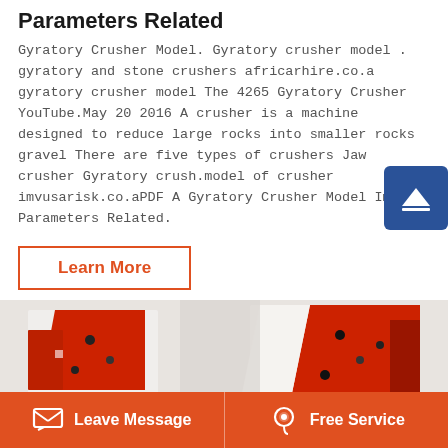Parameters Related
Gyratory Crusher Model. Gyratory crusher model . gyratory and stone crushers africarhire.co.a gyratory crusher model The 4265 Gyratory Crusher YouTube.May 20 2016 A crusher is a machine designed to reduce large rocks into smaller rocks gravel There are five types of crushers Jaw crusher Gyratory crush.model of crusher imvusarisk.co.aPDF A Gyratory Crusher Model Impact Parameters Related.
Learn More
[Figure (photo): Photo of industrial crusher machinery with red and white components]
Leave Message   Free Service